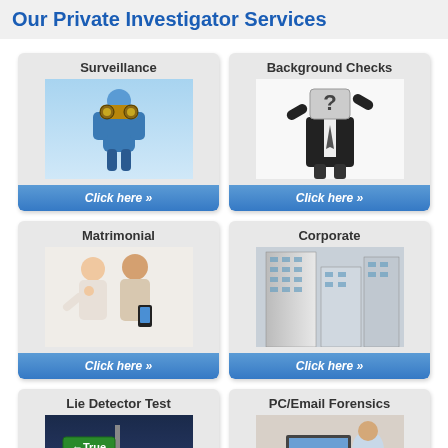Our Private Investigator Services
[Figure (infographic): Service card: Surveillance - person with binoculars, click here button]
[Figure (infographic): Service card: Background Checks - businessman with question mark face, click here button]
[Figure (infographic): Service card: Matrimonial - couple looking at phone, click here button]
[Figure (infographic): Service card: Corporate - tall glass buildings, click here button]
[Figure (infographic): Service card: Lie Detector Test - true/false street sign, click here button]
[Figure (infographic): Service card: PC/Email Forensics - person at computer, click here button]